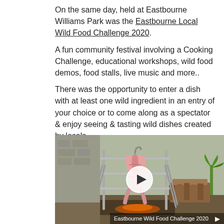On the same day, held at Eastbourne Williams Park was the Eastbourne Local Wild Food Challenge 2020.
A fun community festival involving a Cooking Challenge, educational workshops, wild food demos, food stalls, live music and more..
There was the opportunity to enter a dish with at least one wild ingredient in an entry of your choice or to come along as a spectator & enjoy seeing & tasting wild dishes created by locals.
The event has been run since 2008, starting with the small contest in Eastbourne, and grown to 7 challenges in 5 countries across the world.
[Figure (photo): A whole animal carcass hanging on a metal spit rack over an open fire outdoors, with a pile of firewood visible to the right and greenery in the background. A video play button overlay is visible in the center.]